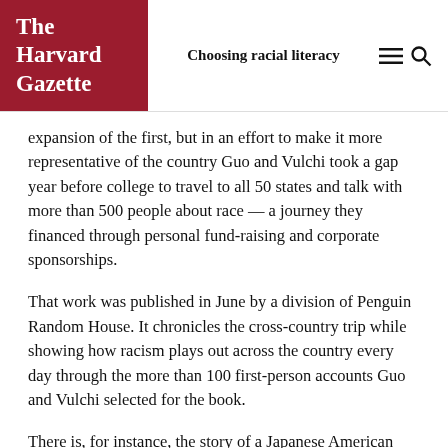The Harvard Gazette | Choosing racial literacy
expansion of the first, but in an effort to make it more representative of the country Guo and Vulchi took a gap year before college to travel to all 50 states and talk with more than 500 people about race — a journey they financed through personal fund-raising and corporate sponsorships.
That work was published in June by a division of Penguin Random House. It chronicles the cross-country trip while showing how racism plays out across the country every day through the more than 100 first-person accounts Guo and Vulchi selected for the book.
There is, for instance, the story of a Japanese American woman in Seattle who was sent to an